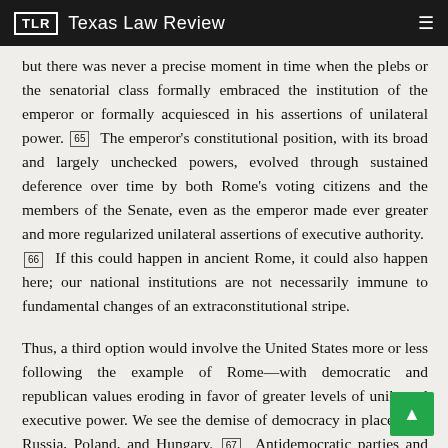TLR  Texas Law Review
but there was never a precise moment in time when the plebs or the senatorial class formally embraced the institution of the emperor or formally acquiesced in his assertions of unilateral power. [65]  The emperor's constitutional position, with its broad and largely unchecked powers, evolved through sustained deference over time by both Rome's voting citizens and the members of the Senate, even as the emperor made ever greater and more regularized unilateral assertions of executive authority. [66]  If this could happen in ancient Rome, it could also happen here; our national institutions are not necessarily immune to fundamental changes of an extraconstitutional stripe.
Thus, a third option would involve the United States more or less following the example of Rome—with democratic and republican values eroding in favor of greater levels of unilateral executive power. We see the demise of democracy in places like Russia, Poland, and Hungary. [67]  Antidemocratic parties and politicians are increasingly competitive in places like France,